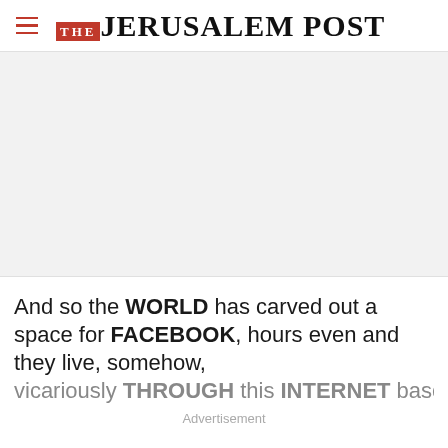THE JERUSALEM POST
[Figure (other): Advertisement placeholder area (gray background)]
And so the WORLD has carved out a space for FACEBOOK, hours even and they live, somehow, vicariously THROUGH this INTERNET base
Advertisement